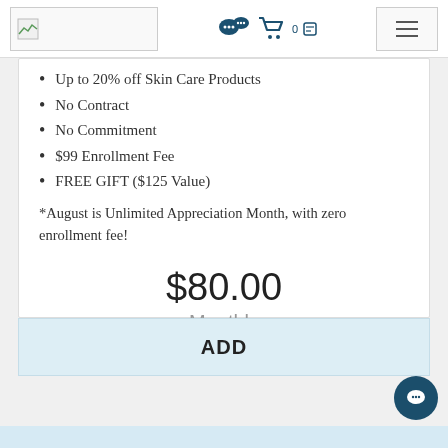[Logo] [Chat icons with cart: 0] [Hamburger menu]
Up to 20% off Skin Care Products
No Contract
No Commitment
$99 Enrollment Fee
FREE GIFT ($125 Value)
*August is Unlimited Appreciation Month, with zero enrollment fee!
$80.00
Monthly
ADD